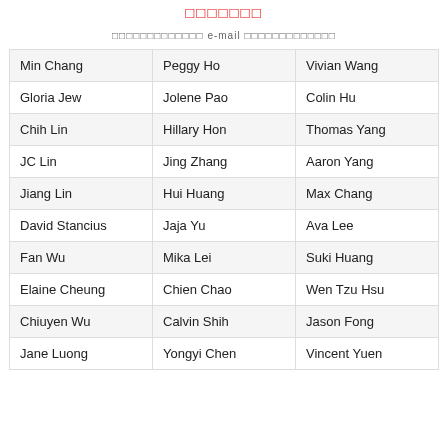□□□□□□□
□□□□□□□□□□□□□ e-mail □□□□□□□□□□□□□
| Min Chang | Peggy Ho | Vivian Wang |
| Gloria Jew | Jolene Pao | Colin Hu |
| Chih Lin | Hillary Hon | Thomas Yang |
| JC Lin | Jing Zhang | Aaron Yang |
| Jiang Lin | Hui Huang | Max Chang |
| David Stancius | Jaja Yu | Ava Lee |
| Fan Wu | Mika Lei | Suki Huang |
| Elaine Cheung | Chien Chao | Wen Tzu Hsu |
| Chiuyen Wu | Calvin Shih | Jason Fong |
| Jane Luong | Yongyi Chen | Vincent Yuen |